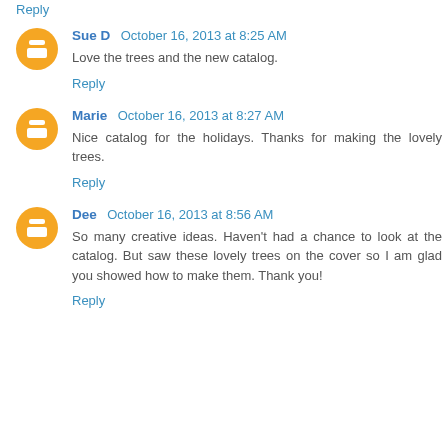Reply
Sue D  October 16, 2013 at 8:25 AM
Love the trees and the new catalog.
Reply
Marie  October 16, 2013 at 8:27 AM
Nice catalog for the holidays. Thanks for making the lovely trees.
Reply
Dee  October 16, 2013 at 8:56 AM
So many creative ideas. Haven’t had a chance to look at the catalog. But saw these lovely trees on the cover so I am glad you showed how to make them. Thank you!
Reply